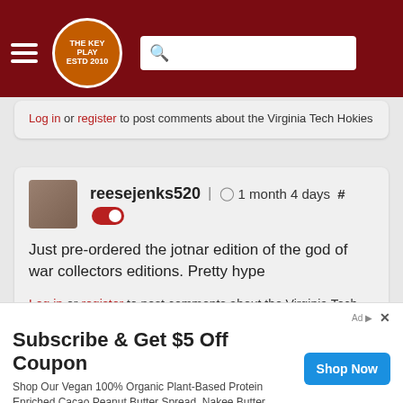The Key Play - navigation header with logo and search bar
Log in or register to post comments about the Virginia Tech Hokies
reesejenks520 | 1 month 4 days #
Just pre-ordered the jotnar edition of the god of war collectors editions. Pretty hype
Log in or register to post comments about the Virginia Tech Hokies
8300A_Hokie'12 NO BAD DAYS | 1 month 3
Subscribe & Get $5 Off Coupon
Shop Our Vegan 100% Organic Plant-Based Protein Enriched Cacao Peanut Butter Spread. Nakee Butter